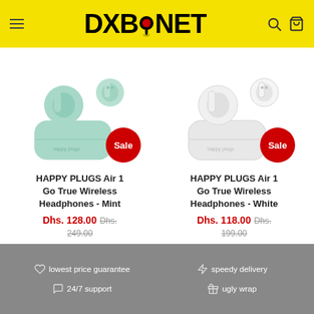DXB.NET
[Figure (photo): HAPPY PLUGS Air 1 Go True Wireless Headphones in Mint color with charging case and red Sale badge]
HAPPY PLUGS Air 1 Go True Wireless Headphones - Mint
Dhs. 128.00 Dhs. 249.00
[Figure (photo): HAPPY PLUGS Air 1 Go True Wireless Headphones in White color with charging case and red Sale badge]
HAPPY PLUGS Air 1 Go True Wireless Headphones - White
Dhs. 118.00 Dhs. 199.00
lowest price guarantee  speedy delivery  24/7 support  ugly wrap